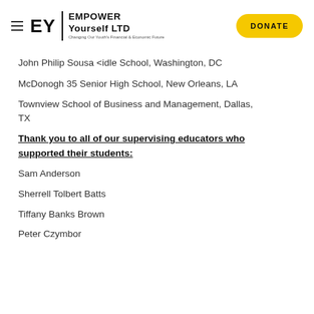EY | EMPOWER Yourself LTD — Changing Our Youth's Financial & Economic Future | DONATE
John Philip Sousa <idle School, Washington, DC
McDonogh 35 Senior High School, New Orleans, LA
Townview School of Business and Management, Dallas, TX
Thank you to all of our supervising educators who supported their students:
Sam Anderson
Sherrell Tolbert Batts
Tiffany Banks Brown
Peter Czymbor